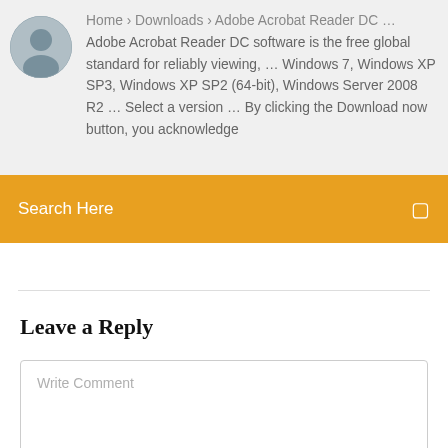Home › Downloads › Adobe Acrobat Reader DC … Adobe Acrobat Reader DC software is the free global standard for reliably viewing, … Windows 7, Windows XP SP3, Windows XP SP2 (64-bit), Windows Server 2008 R2 … Select a version … By clicking the Download now button, you acknowledge
[Figure (photo): Circular avatar photo of a man]
Search Here
Leave a Reply
Write Comment